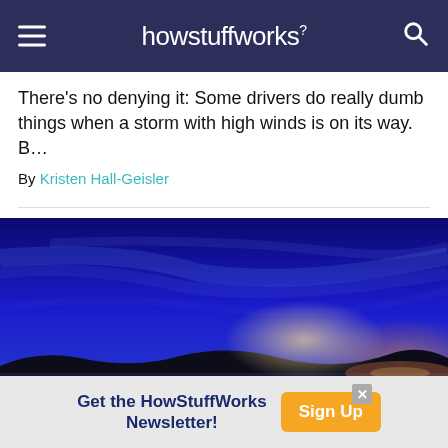howstuffworks
There's no denying it: Some drivers do really dumb things when a storm with high winds is on its way. B…
By Kristen Hall-Geisler
[Figure (photo): Long exposure photo of a highway at night with light trails from cars against a deep blue stormy sky]
Get the HowStuffWorks Newsletter! Sign Up